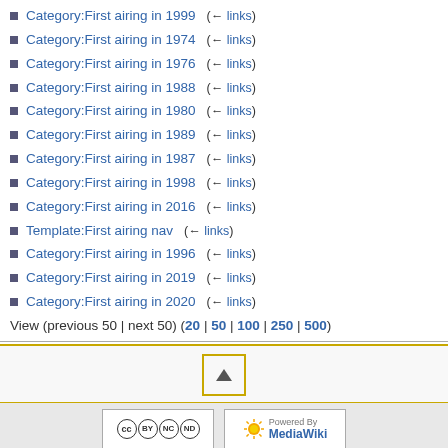Category:First airing in 1999  (← links)
Category:First airing in 1974  (← links)
Category:First airing in 1976  (← links)
Category:First airing in 1988  (← links)
Category:First airing in 1980  (← links)
Category:First airing in 1989  (← links)
Category:First airing in 1987  (← links)
Category:First airing in 1998  (← links)
Category:First airing in 2016  (← links)
Template:First airing nav  (← links)
Category:First airing in 1996  (← links)
Category:First airing in 2019  (← links)
Category:First airing in 2020  (← links)
View (previous 50 | next 50) (20 | 50 | 100 | 250 | 500)
[Figure (other): Scroll to top button inside a gold-bordered box]
[Figure (logo): Creative Commons BY-NC-ND badge]
[Figure (logo): Powered by MediaWiki badge]
Privacy policy   About BroaDWcast   Disclaimers